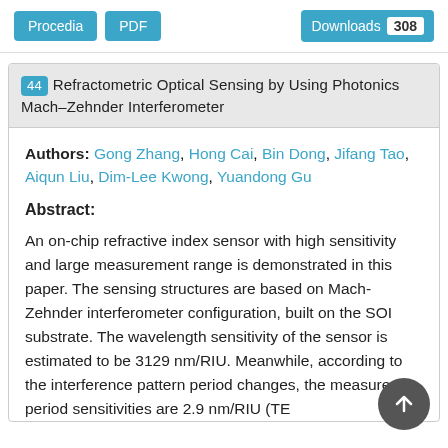Procedia | PDF | Downloads 308
44 Refractometric Optical Sensing by Using Photonics Mach–Zehnder Interferometer
Authors: Gong Zhang, Hong Cai, Bin Dong, Jifang Tao, Aiqun Liu, Dim-Lee Kwong, Yuandong Gu
Abstract:
An on-chip refractive index sensor with high sensitivity and large measurement range is demonstrated in this paper. The sensing structures are based on Mach-Zehnder interferometer configuration, built on the SOI substrate. The wavelength sensitivity of the sensor is estimated to be 3129 nm/RIU. Meanwhile, according to the interference pattern period changes, the measured period sensitivities are 2.9 nm/RIU (TE